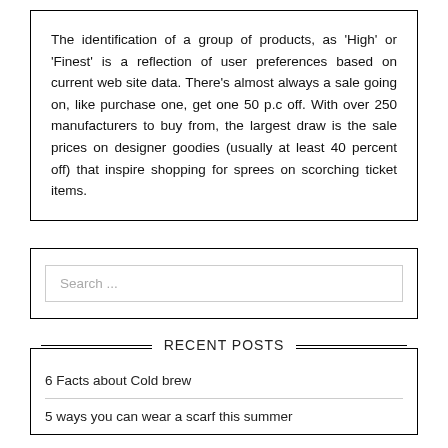The identification of a group of products, as 'High' or 'Finest' is a reflection of user preferences based on current web site data. There's almost always a sale going on, like purchase one, get one 50 p.c off. With over 250 manufacturers to buy from, the largest draw is the sale prices on designer goodies (usually at least 40 percent off) that inspire shopping for sprees on scorching ticket items.
Search ...
RECENT POSTS
6 Facts about Cold brew
5 ways you can wear a scarf this summer